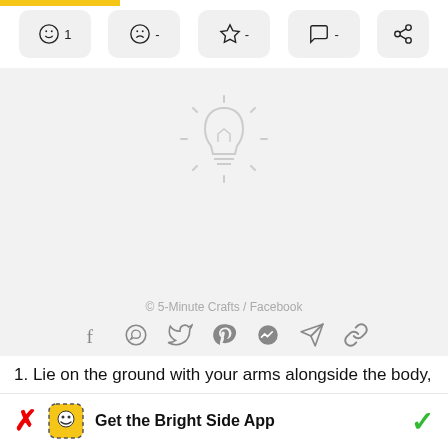[Figure (screenshot): App interaction bar with like (1), dislike (-), star (-), comment (-), and share icons on light gray rounded buttons]
[Figure (illustration): Light bulb icon centered on gray background, representing a tip or idea placeholder image area. Copyright: © 5-Minute Crafts / Facebook]
© 5-Minute Crafts / Facebook
[Figure (infographic): Social sharing icons row: Facebook, WhatsApp, Twitter, Pinterest, Messenger, Telegram, Link]
1. Lie on the ground with your arms alongside the body, palms on the ground, and bending the knees at a 90-degree angle.
Get the Bright Side App